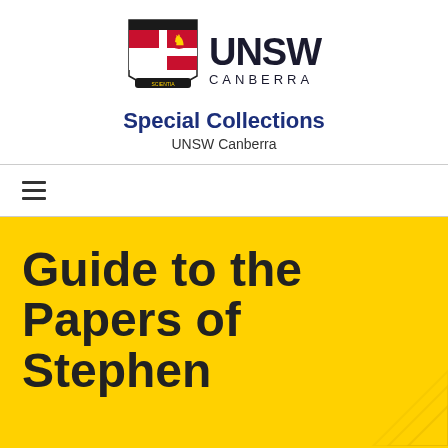[Figure (logo): UNSW Canberra shield logo with heraldic design featuring red cross and lion, alongside UNSW CANBERRA wordmark]
Special Collections
UNSW Canberra
[Figure (other): Hamburger menu icon (three horizontal lines)]
Guide to the Papers of Stephen